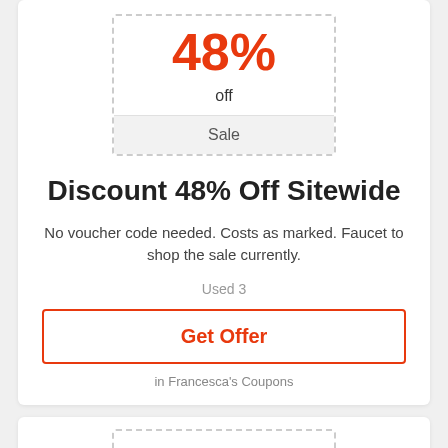48% off
Sale
Discount 48% Off Sitewide
No voucher code needed. Costs as marked. Faucet to shop the sale currently.
Used 3
Get Offer
in Francesca's Coupons
40% off